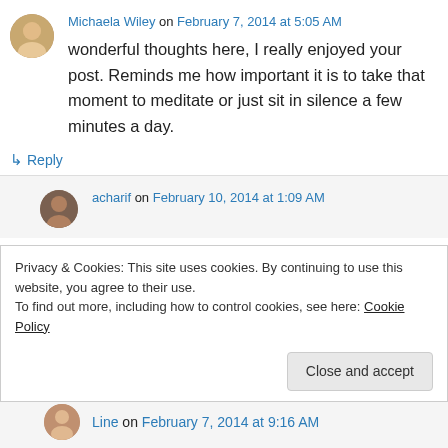[Figure (photo): Round avatar of Michaela Wiley, a woman with blonde hair]
Michaela Wiley on February 7, 2014 at 5:05 AM
wonderful thoughts here, I really enjoyed your post. Reminds me how important it is to take that moment to meditate or just sit in silence a few minutes a day.
↳ Reply
[Figure (photo): Round avatar of acharif, a man]
acharif on February 10, 2014 at 1:09 AM
Privacy & Cookies: This site uses cookies. By continuing to use this website, you agree to their use.
To find out more, including how to control cookies, see here: Cookie Policy
Close and accept
[Figure (photo): Round avatar of Line]
Line on February 7, 2014 at 9:16 AM